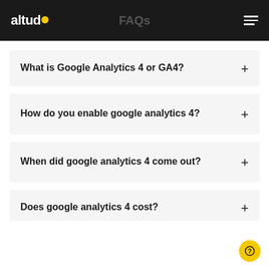FAQs
What is Google Analytics 4 or GA4?
How do you enable google analytics 4?
When did google analytics 4 come out?
Does google analytics 4 cost?